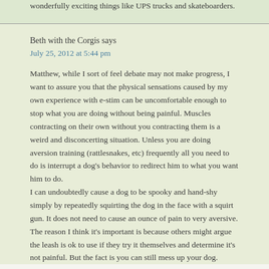wonderfully exciting things like UPS trucks and skateboarders.
Beth with the Corgis says
July 25, 2012 at 5:44 pm
Matthew, while I sort of feel debate may not make progress, I want to assure you that the physical sensations caused by my own experience with e-stim can be uncomfortable enough to stop what you are doing without being painful. Muscles contracting on their own without you contracting them is a weird and disconcerting situation. Unless you are doing aversion training (rattlesnakes, etc) frequently all you need to do is interrupt a dog's behavior to redirect him to what you want him to do.
I can undoubtedly cause a dog to be spooky and hand-shy simply by repeatedly squirting the dog in the face with a squirt gun. It does not need to cause an ounce of pain to very aversive.
The reason I think it's important is because others might argue the leash is ok to use if they try it themselves and determine it's not painful. But the fact is you can still mess up your dog.